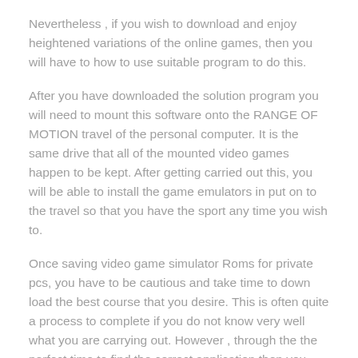Nevertheless , if you wish to download and enjoy heightened variations of the online games, then you will have to how to use suitable program to do this.
After you have downloaded the solution program you will need to mount this software onto the RANGE OF MOTION travel of the personal computer. It is the same drive that all of the mounted video games happen to be kept. After getting carried out this, you will be able to install the game emulators in put on to the travel so that you have the sport any time you wish to.
Once saving video game simulator Roms for private pcs, you have to be cautious and take time to down load the best course that you desire. This is often quite a process to complete if you do not know very well what you are carrying out. However , through the the perfect time to find the correct application then you definitely can down load and utilize the video game emulators in no time at all. It is possible to have enjoyment from the newest produces of countless well-known video games